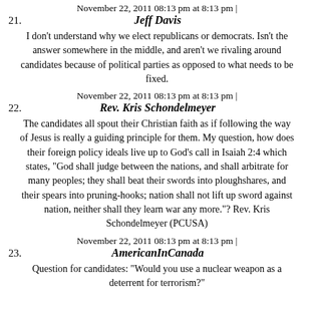November 22, 2011 08:13 pm at 8:13 pm |
21. Jeff Davis
I don't understand why we elect republicans or democrats. Isn't the answer somewhere in the middle, and aren't we rivaling around candidates because of political parties as opposed to what needs to be fixed.
November 22, 2011 08:13 pm at 8:13 pm |
22. Rev. Kris Schondelmeyer
The candidates all spout their Christian faith as if following the way of Jesus is really a guiding principle for them. My question, how does their foreign policy ideals live up to God's call in Isaiah 2:4 which states, "God shall judge between the nations, and shall arbitrate for many peoples; they shall beat their swords into ploughshares, and their spears into pruning-hooks; nation shall not lift up sword against nation, neither shall they learn war any more."? Rev. Kris Schondelmeyer (PCUSA)
November 22, 2011 08:13 pm at 8:13 pm |
23. AmericanInCanada
Question for candidates: "Would you use a nuclear weapon as a deterrent for terrorism?"